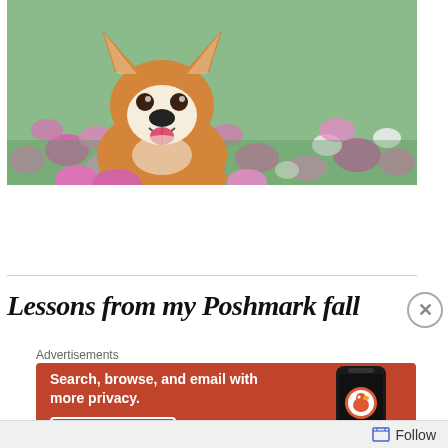[Figure (photo): A smiling Corgi dog sitting in a field of pink and white cosmos flowers with green grass]
Lessons from my Poshmark fall
[Figure (infographic): DuckDuckGo advertisement banner: 'Search, browse, and email with more privacy. All in One Free App' with a phone showing the DuckDuckGo app]
Follow